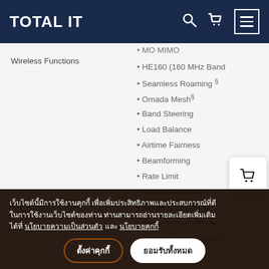TOTAL IT
Wireless Functions
MO MIMO (partially visible)
HE160 (160 MHz Band
Seamless Roaming §
Omada Mesh§
Band Steering
Load Balance
Airtime Fairness
Beamforming
Rate Limit
Reboot Schedule
Wireless Schedule
Wireless Statistics ba
Captive Portal Authen
Access Control (partially visible)
Wireless Mac Address (partially visible)
Wireless Isolation Betw (partially visible)
เว็บไซต์นี้มีการใช้งานคุกกี้ เพื่อเพิ่มประสิทธิภาพและประสบการณ์ที่ดีในการใช้งานเว็บไซต์ของท่าน ท่านสามารถอ่านรายละเอียดเพิ่มเติมได้ที่ นโยบายความเป็นส่วนตัว และ นโยบายคุกกี้
ตั้งค่าคุกกี้
ยอมรับทั้งหมด